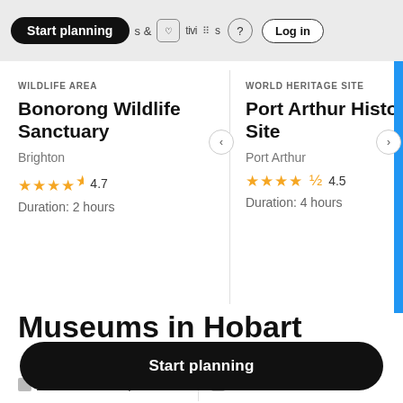Start planning  &  tivities  ?  Log in
WILDLIFE AREA
Bonorong Wildlife Sanctuary
Brighton
★★★★★ 4.7
Duration: 2 hours
WORLD HERITAGE SITE
Port Arthur Historic Site
Port Arthur
★★★★½ 4.5
Duration: 4 hours
Museums in Hobart
Mawson's Hut Replica
Maritime Museum of
Start planning